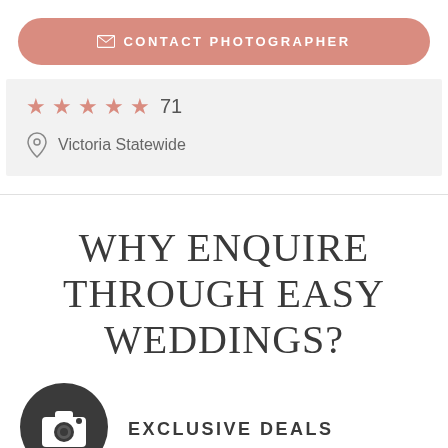[Figure (other): Pink/salmon rounded button with envelope icon and text CONTACT PHOTOGRAPHER]
★★★★★ 71
Victoria Statewide
WHY ENQUIRE THROUGH EASY WEDDINGS?
[Figure (illustration): Dark grey circular icon with a camera/photographer silhouette]
EXCLUSIVE DEALS